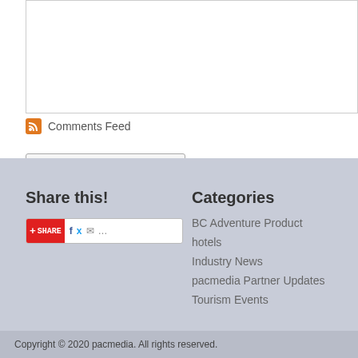[Figure (screenshot): Empty text area input box with light gray border]
Comments Feed
Submit Comment
Share this!
[Figure (screenshot): Share widget with red AddThis button, SHARE label, Facebook, Twitter, email and more icons]
Categories
BC Adventure Product
hotels
Industry News
pacmedia Partner Updates
Tourism Events
Copyright © 2020 pacmedia. All rights reserved.